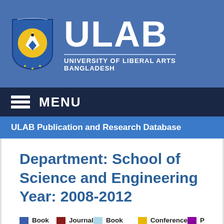[Figure (logo): ULAB University of Liberal Arts Bangladesh logo with shield and pen nib icon, with large ULAB text and subtitle on blue header background]
MENU
ULAB Publication and Research Database
Department: School of Science and Engineering Year: 2008-2012
Book  Journal  Book Chapter  Conference  P  Thesis  Podcast  Film  Data-set  R